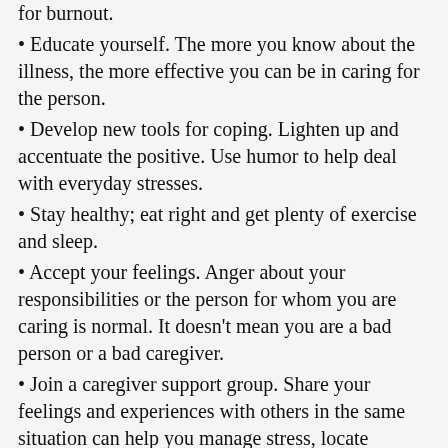for burnout.
• Educate yourself. The more you know about the illness, the more effective you can be in caring for the person.
• Develop new tools for coping. Lighten up and accentuate the positive. Use humor to help deal with everyday stresses.
• Stay healthy; eat right and get plenty of exercise and sleep.
• Accept your feelings. Anger about your responsibilities or the person for whom you are caring is normal. It doesn't mean you are a bad person or a bad caregiver.
• Join a caregiver support group. Share your feelings and experiences with others in the same situation can help you manage stress, locate helpful resources, and reduce feelings of frustration and isolation.